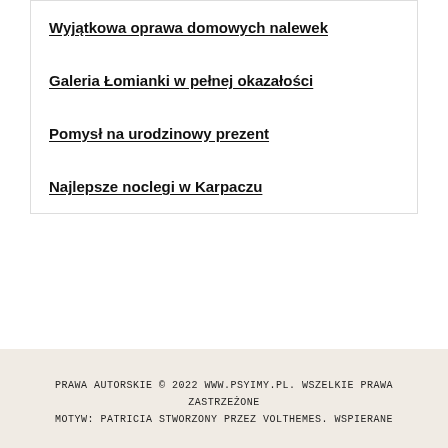Wyjątkowa oprawa domowych nalewek
Galeria Łomianki w pełnej okazałości
Pomysł na urodzinowy prezent
Najlepsze noclegi w Karpaczu
PRAWA AUTORSKIE © 2022 WWW.PSYIMY.PL. WSZELKIE PRAWA ZASTRZEŻONE
MOTYW: PATRICIA STWORZONY PRZEZ VOLTHEMES. WSPIERANE